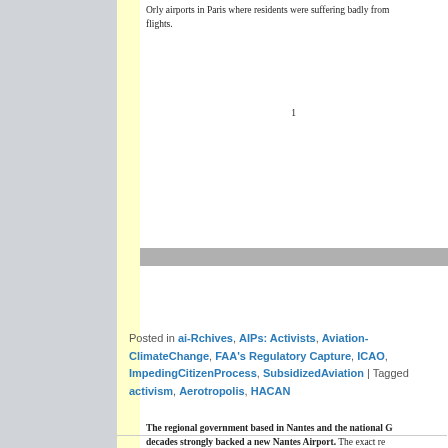Orly airports in Paris where residents were suffering badly from flights.
1
The regional government based in Nantes and the national G… decades strongly backed a new Nantes Airport. The exact re… determined to build it were never clear. The existing airport wa… regeneration and extra jobs that the new airport might have brou…
Posted in ai-Rchives, AIPs: Activists, Aviation-ClimateChange, FAA's Regulatory Capture, ICAO, ImpedingCitizenProcess, SubsidizedAviation | Tagged activism, Aerotropolis, HACAN